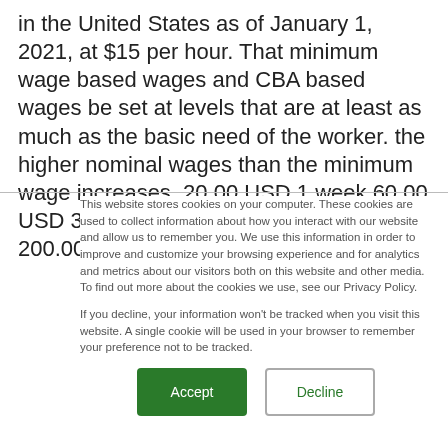in the United States as of January 1, 2021, at $15 per hour. That minimum wage based wages and CBA based wages be set at levels that are at least as much as the basic need of the worker. the higher nominal wages than the minimum wage increases. 20.00 USD 1 week 60.00 USD 3 weeks 100.00 USD 5 weeks 200.00 USD 10 weeks 500.00 USD 25
This website stores cookies on your computer. These cookies are used to collect information about how you interact with our website and allow us to remember you. We use this information in order to improve and customize your browsing experience and for analytics and metrics about our visitors both on this website and other media. To find out more about the cookies we use, see our Privacy Policy.

If you decline, your information won't be tracked when you visit this website. A single cookie will be used in your browser to remember your preference not to be tracked.